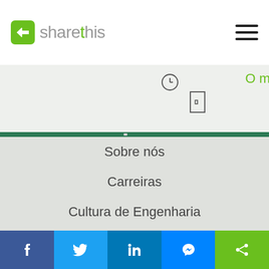sharethis
[Figure (screenshot): Partial web page slider area with clock icon, door icon, green progress bar, and truncated text 'O m']
Sobre nós
Carreiras
Cultura de Engenharia
Notícias
Fale conosco
Privacidade
Privacidade (2021)
[Figure (screenshot): Social sharing bar with Facebook, Twitter, LinkedIn, Messenger, and ShareThis buttons]